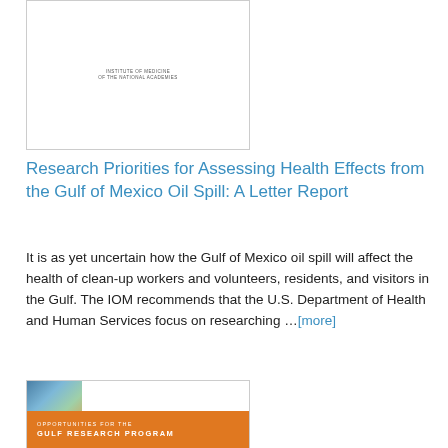[Figure (illustration): White book cover with 'INSTITUTE OF MEDICINE OF THE NATIONAL ACADEMIES' text centered]
Research Priorities for Assessing Health Effects from the Gulf of Mexico Oil Spill: A Letter Report
It is as yet uncertain how the Gulf of Mexico oil spill will affect the health of clean-up workers and volunteers, residents, and visitors in the Gulf. The IOM recommends that the U.S. Department of Health and Human Services focus on researching …[more]
[Figure (illustration): Book cover showing globe image with orange band reading 'OPPORTUNITIES FOR THE GULF RESEARCH PROGRAM']